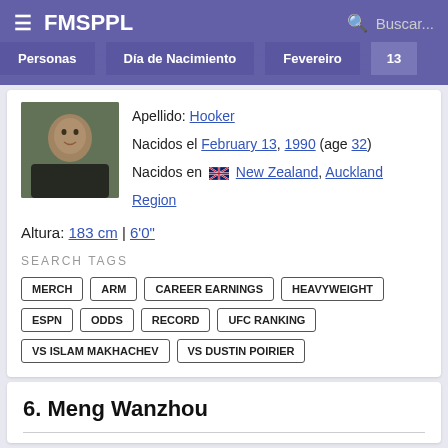FMSPPL
Personas > Día de Nacimiento > Fevereiro > 13
Apellido: Hooker
Nacidos el February 13, 1990 (age 32)
Nacidos en [NZ flag] New Zealand, Auckland Region
Altura: 183 cm | 6'0"
SEARCH TAGS
MERCH
ARM
CAREER EARNINGS
HEAVYWEIGHT
ESPN
ODDS
RECORD
UFC RANKING
VS ISLAM MAKHACHEV
VS DUSTIN POIRIER
6. Meng Wanzhou